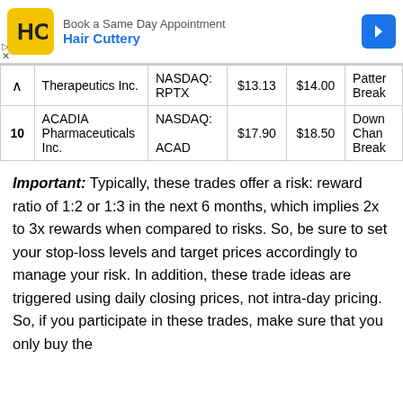[Figure (other): Hair Cuttery advertisement banner with logo and arrow icon]
|  | Company | Ticker | Price | Target | Pattern |
| --- | --- | --- | --- | --- | --- |
|  | Therapeutics Inc. | NASDAQ: RPTX | $13.13 | $14.00 | Wedge Pattern Break |
| 10 | ACADIA Pharmaceuticals Inc. | NASDAQ: ACAD | $17.90 | $18.50 | Downward Channel Break |
Important: Typically, these trades offer a risk: reward ratio of 1:2 or 1:3 in the next 6 months, which implies 2x to 3x rewards when compared to risks. So, be sure to set your stop-loss levels and target prices accordingly to manage your risk. In addition, these trade ideas are triggered using daily closing prices, not intra-day pricing. So, if you participate in these trades, make sure that you only buy the